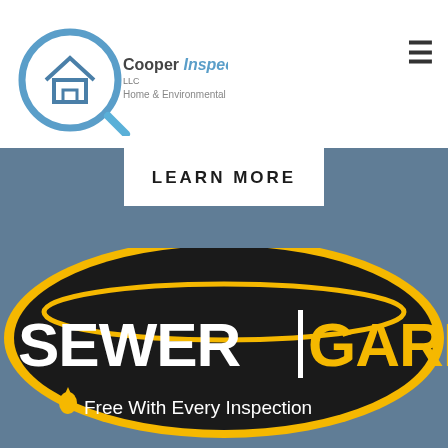[Figure (logo): Cooper Inspections LLC Home & Environmental logo with magnifying glass and house icon]
≡
LEARN MORE
[Figure (logo): SEWER|GARD logo on black oval with yellow stripe and text 'Free With Every Inspection']